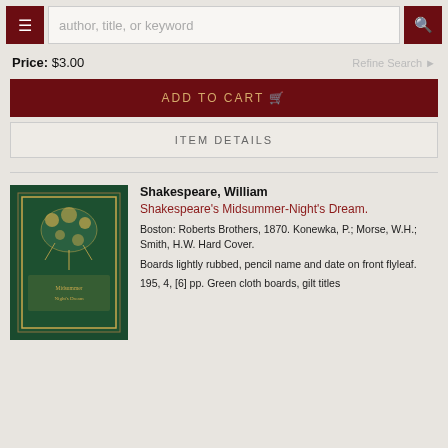author, title, or keyword
Price: $3.00
Refine Search
ADD TO CART
ITEM DETAILS
Shakespeare, William
Shakespeare's Midsummer-Night's Dream.
Boston: Roberts Brothers, 1870. Konewka, P.; Morse, W.H.; Smith, H.W. Hard Cover.
Boards lightly rubbed, pencil name and date on front flyleaf.
195, 4, [6] pp. Green cloth boards, gilt titles